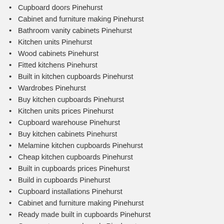Cupboard doors Pinehurst
Cabinet and furniture making Pinehurst
Bathroom vanity cabinets Pinehurst
Kitchen units Pinehurst
Wood cabinets Pinehurst
Fitted kitchens Pinehurst
Built in kitchen cupboards Pinehurst
Wardrobes Pinehurst
Buy kitchen cupboards Pinehurst
Kitchen units prices Pinehurst
Cupboard warehouse Pinehurst
Buy kitchen cabinets Pinehurst
Melamine kitchen cupboards Pinehurst
Cheap kitchen cupboards Pinehurst
Built in cupboards prices Pinehurst
Build in cupboards Pinehurst
Cupboard installations Pinehurst
Cabinet and furniture making Pinehurst
Ready made built in cupboards Pinehurst
Garage storage cupboards Pinehurst
Kitchen remodel Pinehurst
Contemporary kitchen cabinets repairs installer Pinehurst
Kitchen cupboards designs Pinehurst
Custom cabinet makers Pinehurst
Diy cupboards Pinehurst
Custom cabinets Pinehurst
Laundry room cabinets Pinehurst